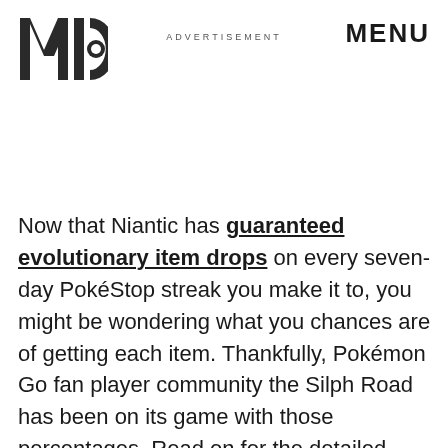MIC  ADVERTISEMENT  MENU
Now that Niantic has guaranteed evolutionary item drops on every seven-day PokéStop streak you make it to, you might be wondering what you chances are of getting each item. Thankfully, Pokémon Go fan player community the Silph Road has been on its game with those percentages. Read on for the detailed breakdown.